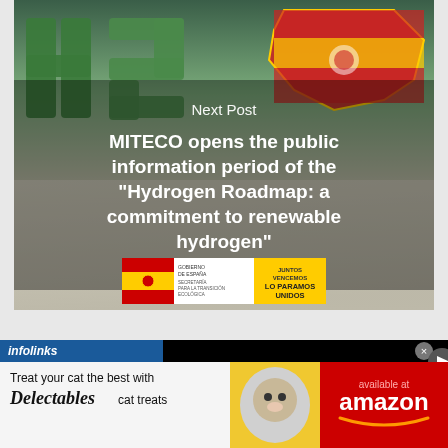[Figure (photo): Next post thumbnail showing green H2 letters made of plants, Spain map with flag colors, and Spanish government hydrogen roadmap banner. Text overlay: 'Next Post' and article title about MITECO hydrogen roadmap.]
Next Post
MITECO opens the public information period of the "Hydrogen Roadmap: a commitment to renewable hydrogen"
[Figure (photo): Gobierno de España / MITECO official banner with flag and 'JUNTOS VENCEMOS - LO PARAMOS UNIDOS' text]
[Figure (photo): Infolinks advertisement banner: 'Treat your cat the best with Delectables cat treats - available at amazon']